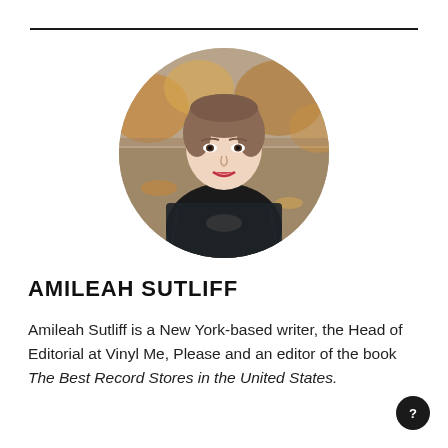[Figure (photo): Circular cropped headshot of Amileah Sutliff, a young woman with light skin, hair pulled back, wearing a dark tweed blazer, seated outdoors with autumn foliage background]
AMILEAH SUTLIFF
Amileah Sutliff is a New York-based writer, the Head of Editorial at Vinyl Me, Please and an editor of the book The Best Record Stores in the United States.